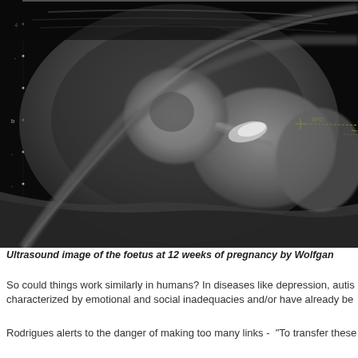[Figure (photo): Ultrasound image of a foetus at 12 weeks of pregnancy, showing grayscale sonographic view with measurement calipers visible in yellow on the fetal body.]
Ultrasound image of the foetus at 12 weeks of pregnancy by Wolfgang
So could things work similarly in humans? In diseases like depression, autis... characterized by emotional and social inadequacies and/or have already be...
Rodrigues alerts to the danger of making too many links - "To transfer these...